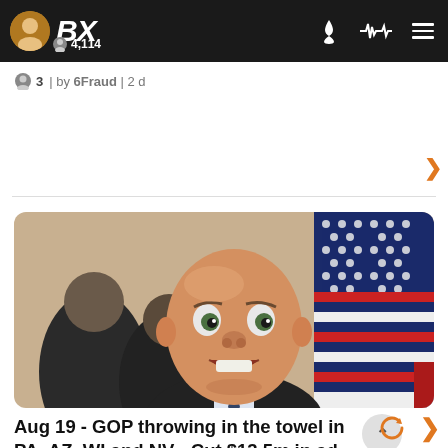BX | 4,114
3 | by 6Fraud | 2 d
[Figure (photo): Bald man with surprised/open-mouthed expression speaking in front of American flags]
Aug 19 - GOP throwing in the towel in PA, AZ, WI and NV - Cut $13.5m in ad buys
@news | 47 replies | 3 min ago
6 | by Skateboard T | 5 hr